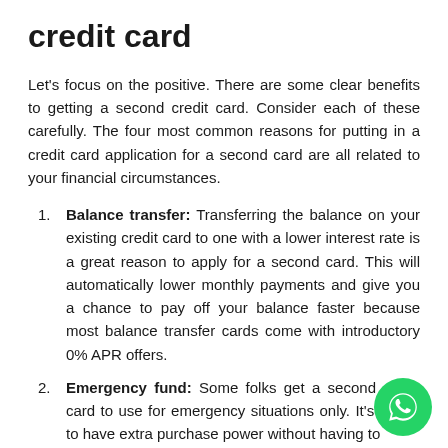credit card
Let's focus on the positive. There are some clear benefits to getting a second credit card. Consider each of these carefully. The four most common reasons for putting in a credit card application for a second card are all related to your financial circumstances.
Balance transfer: Transferring the balance on your existing credit card to one with a lower interest rate is a great reason to apply for a second card. This will automatically lower monthly payments and give you a chance to pay off your balance faster because most balance transfer cards come with introductory 0% APR offers.
Emergency fund: Some folks get a second credit card to use for emergency situations only. It's a way to have extra purchase power without having to